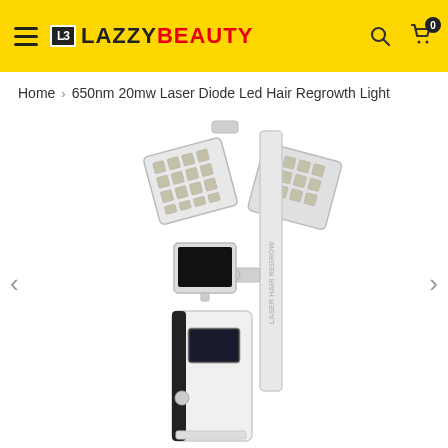LazzyBeauty - navigation header with hamburger menu, logo, search and cart icons
Home > 650nm 20mw Laser Diode Led Hair Regrowth Light
[Figure (photo): Product photo of a 650nm 20mw Laser Diode Led Hair Regrowth Light machine. A tall white medical-style device with a vertical pole, a laser head panel at the top (folded open with LED/laser diodes), a monitor screen mid-height, a small control screen on the tower body, and 'LASER HAIR REGROW' text on the pole. Left and right navigation arrows are visible.]